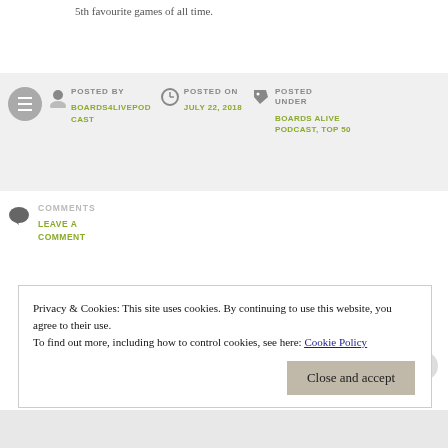5th favourite games of all time.
POSTED BY
BOARDS4LIVEODCAST
POSTED ON
JULY 22, 2018
POSTED UNDER
BOARDS ALIVE PODCAST, TOP 50
COMMENTS
LEAVE A COMMENT
Privacy & Cookies: This site uses cookies. By continuing to use this website, you agree to their use.
To find out more, including how to control cookies, see here: Cookie Policy
Close and accept